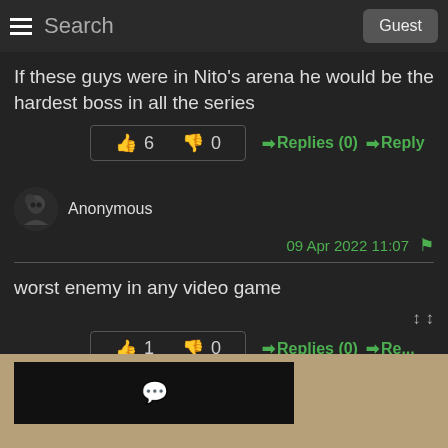Search  Guest
If these guys were in Nito's arena he would be the hardest boss in all the series
👍 6   👎 0   ➡Replies (0)  ➡Reply
[Figure (illustration): Anonymous user avatar - dark circular icon with stylized figure]
Anonymous
09 Apr 2022 11:07  🚩
worst enemy in any video game
👍 1   👎 0   ➡Replies (0)  ➡Reply